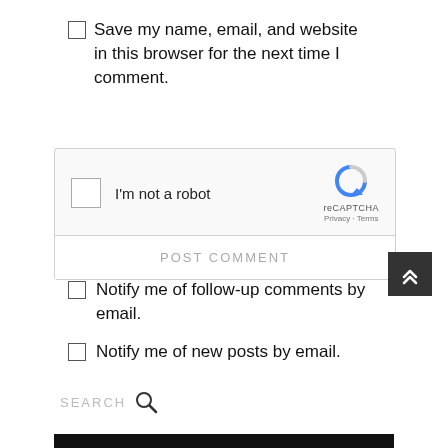Save my name, email, and website in this browser for the next time I comment.
[Figure (screenshot): reCAPTCHA widget with checkbox 'I'm not a robot', reCAPTCHA logo, Privacy and Terms links, and a POST COMMENT button below]
Notify me of follow-up comments by email.
Notify me of new posts by email.
[Figure (other): Dark scroll-to-top button with double up-arrow chevron]
SEARCH
[Figure (other): Black footer bar at bottom of page]